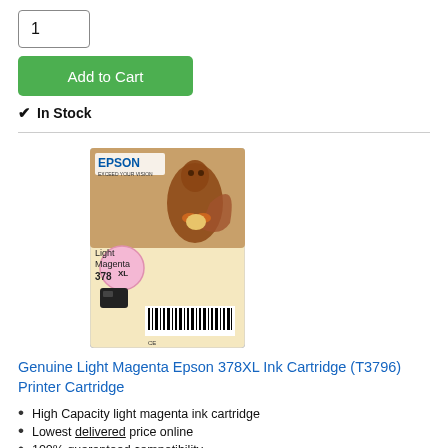1
Add to Cart
✔ In Stock
[Figure (photo): Epson 378XL Light Magenta ink cartridge product package featuring a squirrel image, with barcode visible at bottom]
Genuine Light Magenta Epson 378XL Ink Cartridge (T3796) Printer Cartridge
High Capacity light magenta ink cartridge
Lowest delivered price online
100% guaranteed compatibility
Product details
£13.68 (£16.42 inc VAT)
Delivery from £2.62 for your whole order